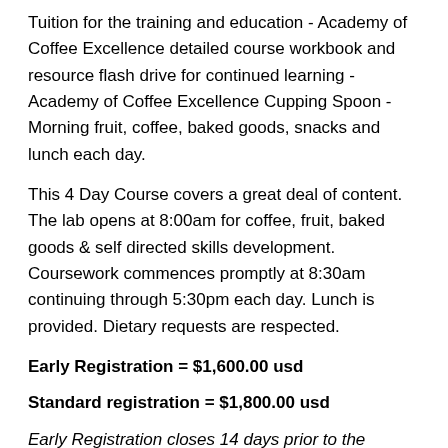Tuition for the training and education - Academy of Coffee Excellence detailed course workbook and resource flash drive for continued learning - Academy of Coffee Excellence Cupping Spoon - Morning fruit, coffee, baked goods, snacks and lunch each day.
This 4 Day Course covers a great deal of content. The lab opens at 8:00am for coffee, fruit, baked goods & self directed skills development. Coursework commences promptly at 8:30am continuing through 5:30pm each day. Lunch is provided. Dietary requests are respected.
Early Registration = $1,600.00 usd
Standard registration = $1,800.00 usd
Early Registration closes 14 days prior to the beginning of this course.